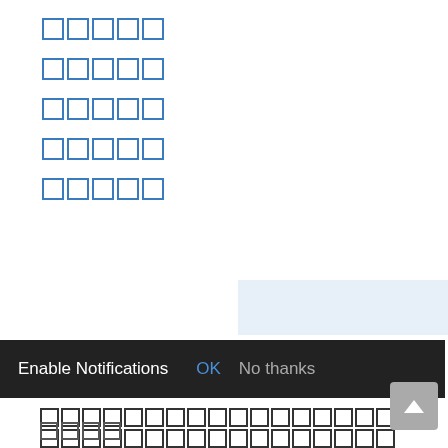█████ (link item 1)
█████ (link item 2)
█████ (link item 3)
█████ (link item 4)
█████ (link item 5)
[Figure (other): Light blue panel/highlight region]
█████████ (section heading)
████████████████████████████████████████████ (body text)
Enable Notifications  OK  No thanks
████ (footer text)